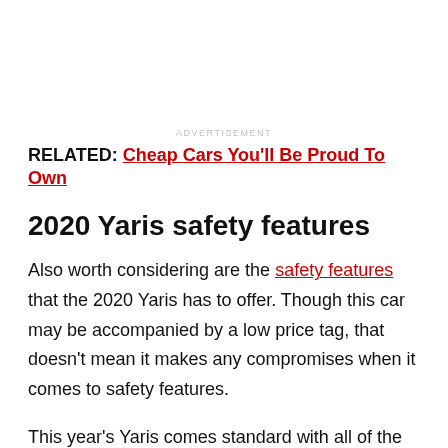ADVERTISEMENT
RELATED: Cheap Cars You'll Be Proud To Own
2020 Yaris safety features
Also worth considering are the safety features that the 2020 Yaris has to offer. Though this car may be accompanied by a low price tag, that doesn't mean it makes any compromises when it comes to safety features.
This year's Yaris comes standard with all of the